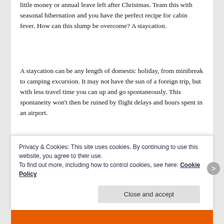January is a trying time of year, with many of us facing little money or annual leave left after Christmas. Team this with seasonal hibernation and you have the perfect recipe for cabin fever. How can this slump be overcome? A staycation.
A staycation can be any length of domestic holiday, from minibreak to camping excursion. It may not have the sun of a foreign trip, but with less travel time you can up and go spontaneously. This spontaneity won’t then be ruined by flight delays and hours spent in an airport.
But, I hear you say, ‘British accommodation is so expensive, I could get a package holiday with this money’. Compared to package hotels UK venues are pricier, but
Privacy & Cookies: This site uses cookies. By continuing to use this website, you agree to their use.
To find out more, including how to control cookies, see here: Cookie Policy